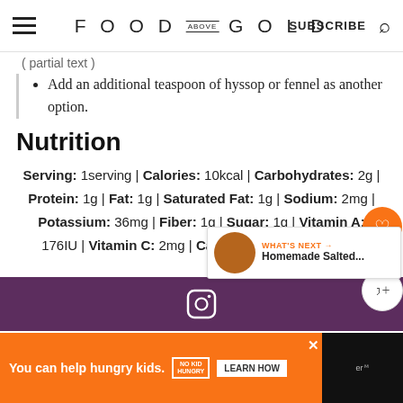FOOD ABOVE GOLD | SUBSCRIBE
Add an additional teaspoon of hyssop or fennel as another option.
Nutrition
Serving: 1serving | Calories: 10kcal | Carbohydrates: 2g | Protein: 1g | Fat: 1g | Saturated Fat: 1g | Sodium: 2mg | Potassium: 36mg | Fiber: 1g | Sugar: 1g | Vitamin A: 176IU | Vitamin C: 2mg | Calcium: 72mg | Iron: 4mg
[Figure (screenshot): Purple footer bar with Instagram icon]
You can help hungry kids. NO KID HUNGRY LEARN HOW